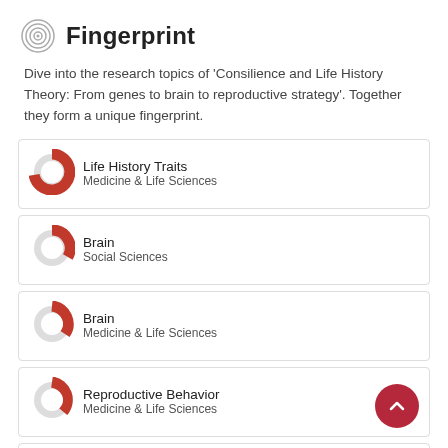Fingerprint
Dive into the research topics of 'Consilience and Life History Theory: From genes to brain to reproductive strategy'. Together they form a unique fingerprint.
Life History Traits — Medicine & Life Sciences
Brain — Social Sciences
Brain — Medicine & Life Sciences
Reproductive Behavior — Medicine & Life Sciences
Behavioral Genetics (partially visible)